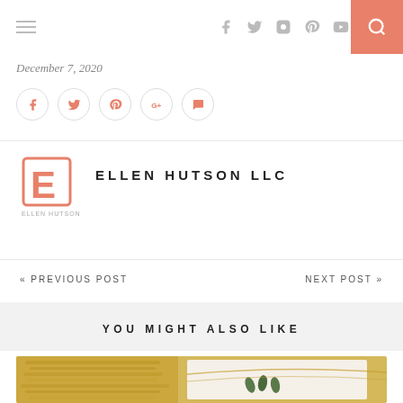Navigation bar with hamburger menu, social icons (facebook, twitter, instagram, pinterest, youtube), and search button
December 7, 2020
[Figure (infographic): Row of 5 circular share buttons with social icons: facebook, twitter, pinterest, google+, comment]
[Figure (logo): Ellen Hutson LLC logo - stylized pink/red E letter with 'ELLEN HUTSON' text below]
ELLEN HUTSON LLC
« PREVIOUS POST
NEXT POST »
YOU MIGHT ALSO LIKE
[Figure (photo): Photo showing a yellow/gold skein of thread or twine next to a crafting card with small leaf/pine decorations]